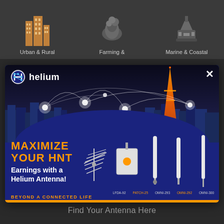[Figure (screenshot): Top navigation bar with icons: Urban & Rural, Farming &, Marine & Coastal category icons on dark background]
[Figure (infographic): Helium network advertisement modal. Shows helium logo top left, city skyline with network connectivity nodes at night, Tokyo Tower visible. Blue background with product antennas: LFDA-92, PATCH-25, OMNI-293, OMNI-292 (orange), OMNI-300. Text: MAXIMIZE YOUR HNT Earnings with a Helium Antenna! BEYOND A CONNECTED LIFE]
Find Your Antenna Here